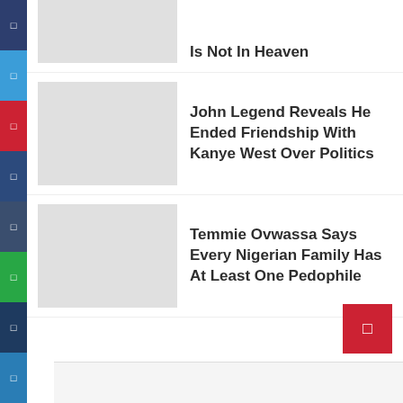Harrysong Argues That God Is Not In Heaven
John Legend Reveals He Ended Friendship With Kanye West Over Politics
Temmie Ovwassa Says Every Nigerian Family Has At Least One Pedophile